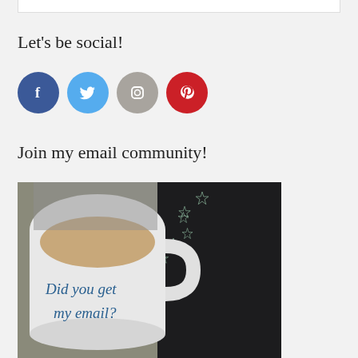Let's be social!
[Figure (infographic): Four social media icon circles: Facebook (blue), Twitter (light blue), Instagram (gray), Pinterest (red)]
Join my email community!
[Figure (photo): A white coffee mug with text 'Did you get my email?' written in blue ink in the coffee, next to a dark fabric with star pattern]